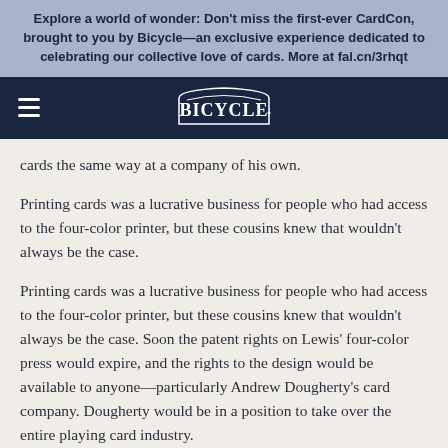Explore a world of wonder: Don't miss the first-ever CardCon, brought to you by Bicycle—an exclusive experience dedicated to celebrating our collective love of cards. More at fal.cn/3rhqt
[Figure (logo): Bicycle brand logo on dark navy navigation bar with hamburger menu icon on the left]
cards the same way at a company of his own.
Printing cards was a lucrative business for people who had access to the four-color printer, but these cousins knew that wouldn't always be the case.
Printing cards was a lucrative business for people who had access to the four-color printer, but these cousins knew that wouldn't always be the case. Soon the patent rights on Lewis' four-color press would expire, and the rights to the design would be available to anyone—particularly Andrew Dougherty's card company. Dougherty would be in a position to take over the entire playing card industry.